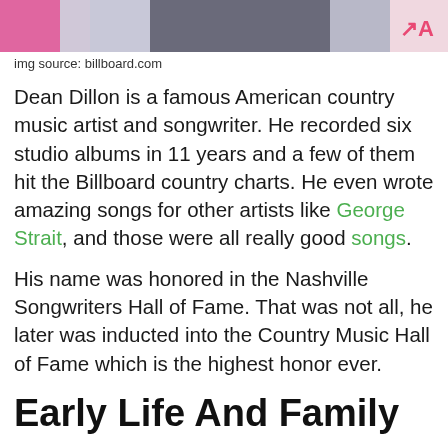[Figure (photo): Cropped photo strip showing Dean Dillon with pink, gray, and dark tones; partial logo visible at top right]
img source: billboard.com
Dean Dillon is a famous American country music artist and songwriter. He recorded six studio albums in 11 years and a few of them hit the Billboard country charts. He even wrote amazing songs for other artists like George Strait, and those were all really good songs.
His name was honored in the Nashville Songwriters Hall of Fame. That was not all, he later was inducted into the Country Music Hall of Fame which is the highest honor ever.
Early Life And Family